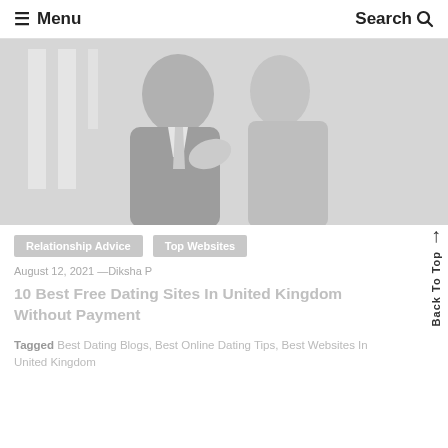☰ Menu   Search 🔍
[Figure (photo): A couple close together, a man in a dark jacket and a woman, shown in a faded/light grayscale style]
Relationship Advice   Top Websites
August 12, 2021 —Diksha P
10 Best Free Dating Sites In United Kingdom Without Payment
Tagged Best Dating Blogs, Best Online Dating Tips, Best Websites In United Kingdom